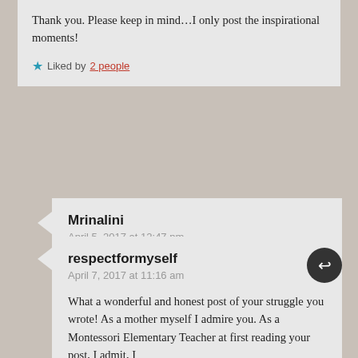Thank you. Please keep in mind...I only post the inspirational moments!
Liked by 2 people
Mrinalini
April 5, 2017 at 12:47 pm
Haha, well said 🙂
Like
respectformyself
April 7, 2017 at 11:16 am
What a wonderful and honest post of your struggle you wrote! As a mother myself I admire you. As a Montessori Elementary Teacher at first reading your post, I admit, I